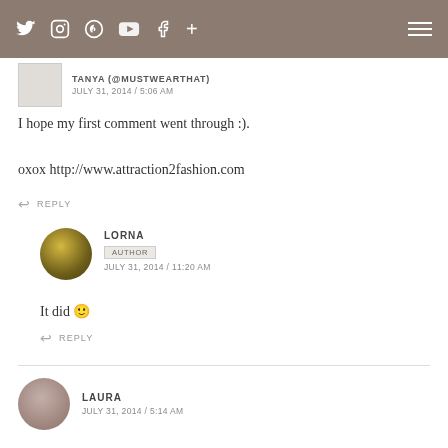Navigation bar with social icons and hamburger menu
TANYA (@MUSTWEARTHAT)
JULY 31, 2014 / 5:06 AM
I hope my first comment went through :).

oxox http://www.attraction2fashion.com
↩ REPLY
LORNA
AUTHOR
JULY 31, 2014 / 11:20 AM
It did 🙂
↩ REPLY
LAURA
JULY 31, 2014 / 5:14 AM